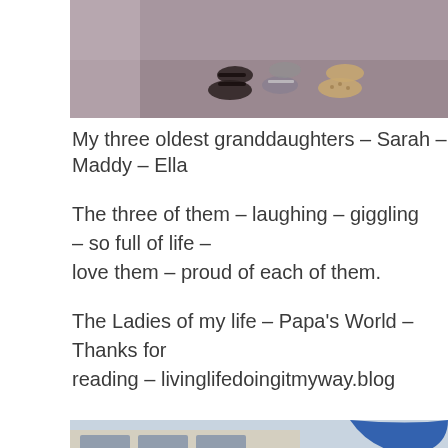[Figure (photo): Close-up photo of feet/shoes on pavement belonging to three granddaughters Sarah, Maddy, and Ella]
My three oldest granddaughters – Sarah – Maddy – Ella
The three of them – laughing – giggling – so full of life – love them – proud of each of them.
The Ladies of my life – Papa's World – Thanks for reading – livinglifedoingitmyway.blog
[Figure (photo): Group photo of people including the granddaughters outside a restaurant/building with a blue umbrella and a marlin sculpture on the building wall]